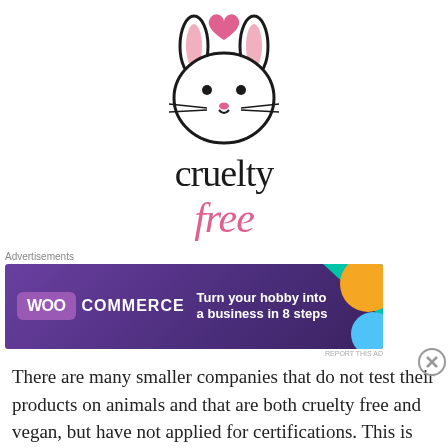[Figure (logo): Cruelty Free bunny logo with a rabbit face and heart above, followed by the text 'cruelty free' where 'cruelty' is in black serif font and 'free' is in pink italic serif font]
Advertisements
[Figure (screenshot): WooCommerce advertisement banner: purple background with colorful geometric shapes, WooCommerce logo on left, text 'Turn your hobby into a business in 8 steps']
REPORT THIS AD
There are many smaller companies that do not test their products on animals and that are both cruelty free and vegan, but have not applied for certifications. This is because, being smaller, often, resources are
Advertisements
[Figure (screenshot): Dark navy advertisement banner: 'Create surveys, polls, quizzes, and forms.' with WordPress logo and Survey Monkey style icon on the right, starry background]
REPORT THIS AD